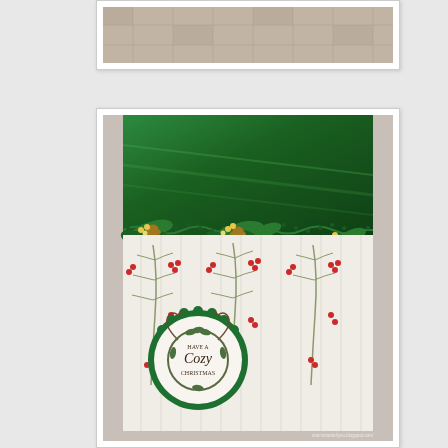[Figure (photo): Top cropped photo showing a plaid/checkered fabric or wrapping paper in muted tan/brown tones on a light wooden surface, partially visible at the top of the page.]
[Figure (photo): A handmade Christmas card featuring a dark green metallic foil upper portion with a decorative die-cut holly and pine cone border. The lower portion has a white wood-grain patterned paper with red berries and pine branch designs. A circular green scalloped medallion in the lower left contains a wreath stamp image with the text 'Have a Cozy Christmas'. A watermark reads 'stamncards4you.blogspot.com'.]